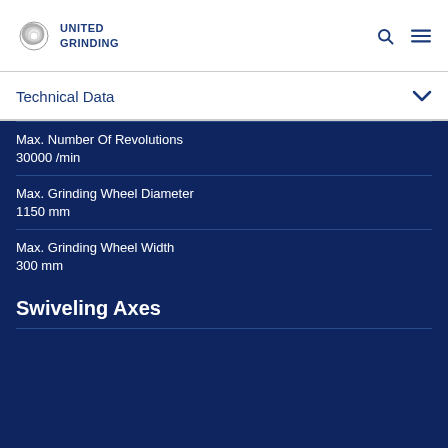[Figure (logo): United Grinding logo with stylized grinding wheel icon and text UNITED GRINDING in dark blue]
Technical Data
Max. Number Of Revolutions
30000 /min
Max. Grinding Wheel Diameter
1150 mm
Max. Grinding Wheel Width
300 mm
Swiveling Axes